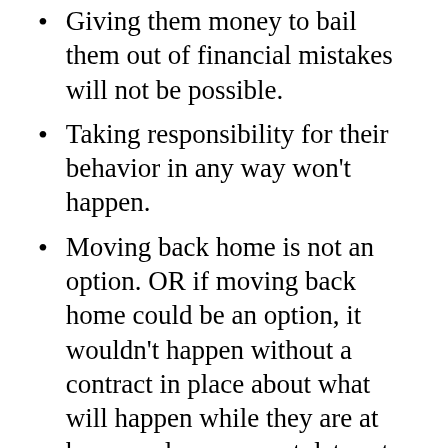Giving them money to bail them out of financial mistakes will not be possible.
Taking responsibility for their behavior in any way won't happen.
Moving back home is not an option. OR if moving back home could be an option, it wouldn't happen without a contract in place about what will happen while they are at home and a move-out date set. A warning: if you choose to let them move back home, even with a contract in place, it could be very difficult to get them out.
Avoid enabling